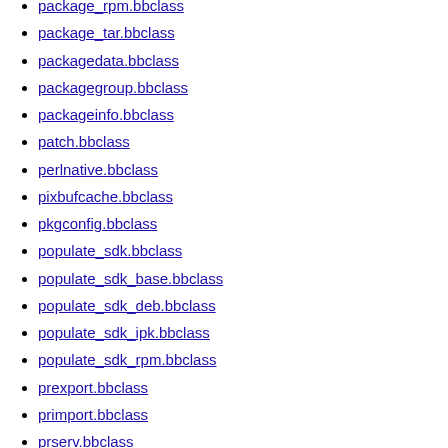package_rpm.bbclass
package_tar.bbclass
packagedata.bbclass
packagegroup.bbclass
packageinfo.bbclass
patch.bbclass
perlnative.bbclass
pixbufcache.bbclass
pkgconfig.bbclass
populate_sdk.bbclass
populate_sdk_base.bbclass
populate_sdk_deb.bbclass
populate_sdk_ipk.bbclass
populate_sdk_rpm.bbclass
prexport.bbclass
primport.bbclass
prserv.bbclass
ptest-gnome.bbclass
ptest.bbclass
python-dir.bbclass
python3native.bbclass
pythonnative.bbclass
qemu.bbclass
qmake2.bbclass
qmake_base.bbclass